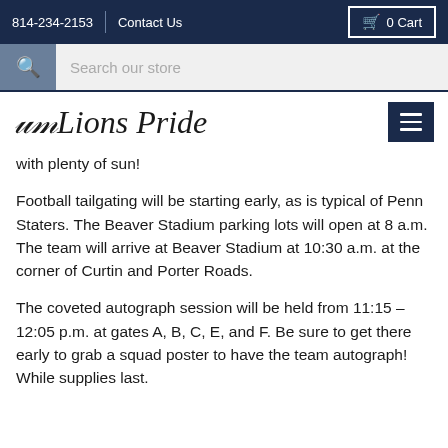814-234-2153  Contact Us  0 Cart
Search our store
Lions Pride
with plenty of sun!
Football tailgating will be starting early, as is typical of Penn Staters. The Beaver Stadium parking lots will open at 8 a.m. The team will arrive at Beaver Stadium at 10:30 a.m. at the corner of Curtin and Porter Roads.
The coveted autograph session will be held from 11:15 – 12:05 p.m. at gates A, B, C, E, and F. Be sure to get there early to grab a squad poster to have the team autograph! While supplies last.